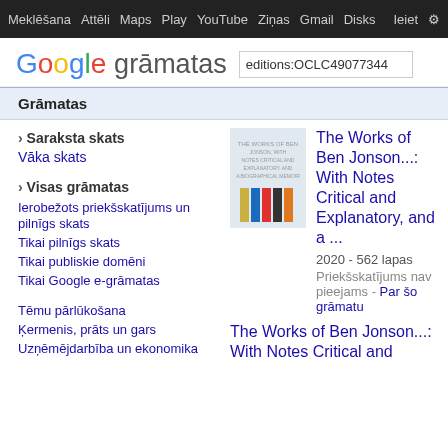Meklēšana  Attēli  Maps  Play  YouTube  Ziņas  Gmail  Disks  Ieiet  ⚙
[Figure (screenshot): Google grāmatas logo with search box containing editions:OCLC490773441]
Grāmatas
› Saraksta skats
Vāka skats
› Visas grāmatas
Ierobežots priekšskatījums un pilnīgs skats
Tikai pilnīgs skats
Tikai publiskie domēni
Tikai Google e-grāmatas
Tēmu pārlūkošana
Ķermenis, prāts un gars
Uzņēmējdarbība un ekonomika
[Figure (photo): Book cover of The Works of Ben Jonson with colorful spine design]
The Works of Ben Jonson...: With Notes Critical and Explanatory, and a ...
2020 - 562 lapas
Priekšskatījums nav pieejams - Par šo grāmatu
The Works of Ben Jonson...: With Notes Critical and